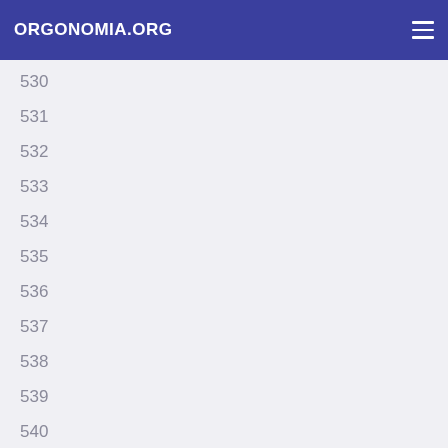ORGONOMIA.ORG
530
531
532
533
534
535
536
537
538
539
540
541
542
543
544